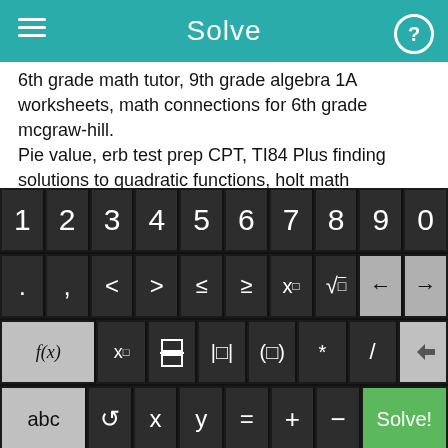Solve
6th grade math tutor, 9th grade algebra 1A worksheets, math connections for 6th grade mcgraw-hill.
Pie value, erb test prep CPT, TI84 Plus finding solutions to quadratic functions, holt math workbook, glencoe math answers.
Algebra evaluation calculator, dividing integers worksheet, English Placement Test bank pdf.
Elementary and intermediate algebra for college students,
[Figure (screenshot): Mobile app calculator keyboard with rows: digits 1-0, symbols (. , < > ≤ ≥ x□ √ ← →), functions (f(x) x□ fraction |□| (□) * / backspace), and (abc ↺ x y = + − Solve!)]